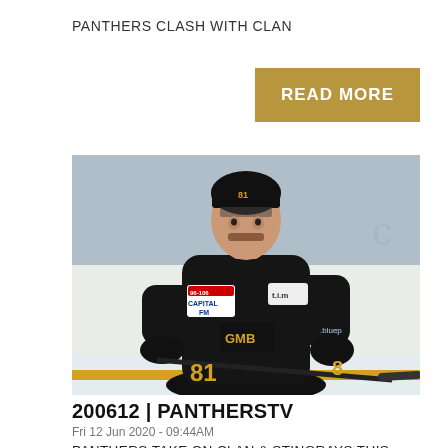PANTHERS CLASH WITH CLAN
READ MORE
[Figure (photo): Ice hockey player in black Panthers jersey with number 81, wearing GMB sponsor logo and Capital FM patch, holding a hockey stick on the ice]
200612 | PANTHERSTV
Fri 12 Jun 2020 - 09:44AM
PANTHERS TAKE ON CLAN & STINGRAYS THIS